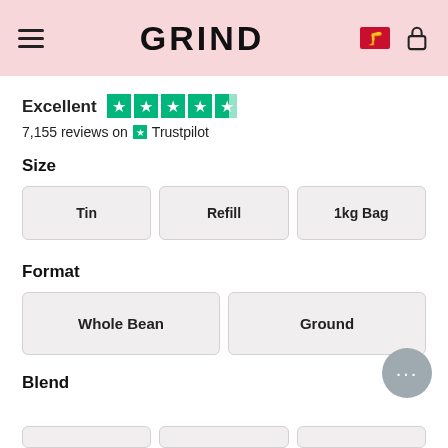GRIND
Excellent   7,155 reviews on Trustpilot
Size
Tin
Refill
1kg Bag
Format
Whole Bean
Ground
Blend